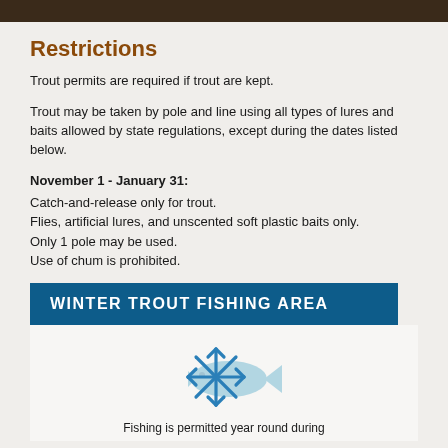Restrictions
Trout permits are required if trout are kept.
Trout may be taken by pole and line using all types of lures and baits allowed by state regulations, except during the dates listed below.
November 1 - January 31:
Catch-and-release only for trout.
Flies, artificial lures, and unscented soft plastic baits only.
Only 1 pole may be used.
Use of chum is prohibited.
WINTER TROUT FISHING AREA
[Figure (illustration): Snowflake icon overlapping a fish silhouette icon, representing winter trout fishing]
Fishing is permitted year round during